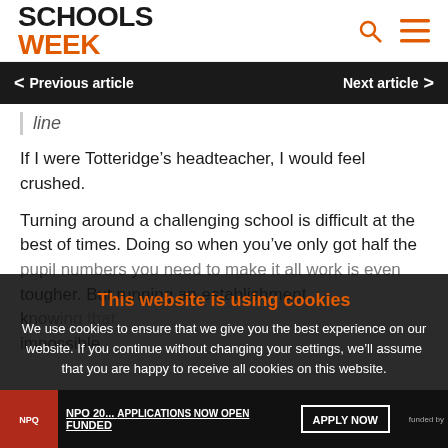SCHOOLS WEEK
Previous article | Next article
line
If I were Totteridge’s headteacher, I would feel crushed.
Turning around a challenging school is difficult at the best of times. Doing so when you’ve only got half the pupil numbers you need to make it all work is even tougher. But running an establishment... impossible.
This website is using cookies
We use cookies to ensure that we give you the best experience on our website. If you continue without changing your settings, we’ll assume that you are happy to receive all cookies on this website.
Accept | Learn More
NPO 20... APPLICATIONS NOW OPEN | FUNDED | APPLY NOW